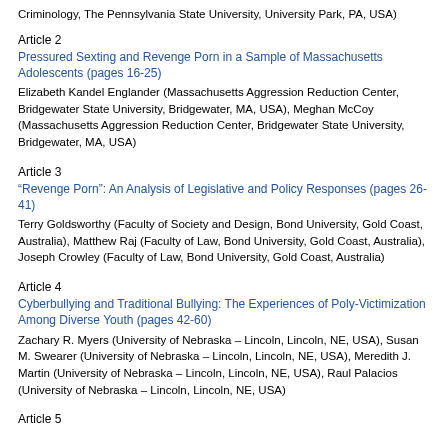Criminology, The Pennsylvania State University, University Park, PA, USA)
Article 2
Pressured Sexting and Revenge Porn in a Sample of Massachusetts Adolescents (pages 16-25)
Elizabeth Kandel Englander (Massachusetts Aggression Reduction Center, Bridgewater State University, Bridgewater, MA, USA), Meghan McCoy (Massachusetts Aggression Reduction Center, Bridgewater State University, Bridgewater, MA, USA)
Article 3
“Revenge Porn”: An Analysis of Legislative and Policy Responses (pages 26-41)
Terry Goldsworthy (Faculty of Society and Design, Bond University, Gold Coast, Australia), Matthew Raj (Faculty of Law, Bond University, Gold Coast, Australia), Joseph Crowley (Faculty of Law, Bond University, Gold Coast, Australia)
Article 4
Cyberbullying and Traditional Bullying: The Experiences of Poly-Victimization Among Diverse Youth (pages 42-60)
Zachary R. Myers (University of Nebraska – Lincoln, Lincoln, NE, USA), Susan M. Swearer (University of Nebraska – Lincoln, Lincoln, NE, USA), Meredith J. Martin (University of Nebraska – Lincoln, Lincoln, NE, USA), Raul Palacios (University of Nebraska – Lincoln, Lincoln, NE, USA)
Article 5